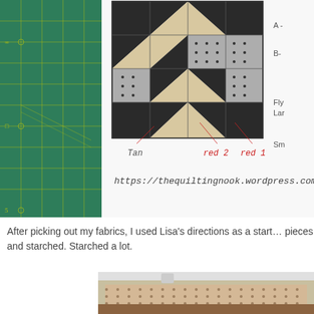[Figure (photo): Partial view of a quilt pattern diagram/planning sheet showing a Bear Paw or similar quilt block with dark and tan/dotted fabrics, handwritten labels (Tan, red2, red1), partial text A-, B-, Fly-, Lar-, Sm, and website URL https://thequiltingnook.wordpress.com. Left side shows a green cutting mat.]
After picking out my fabrics, I used Lisa's directions as a start... pieces and starched. Starched a lot.
[Figure (photo): Photo of a tan dotted fabric strip starched and laid flat on an ironing or cutting surface, with a wooden board visible.]